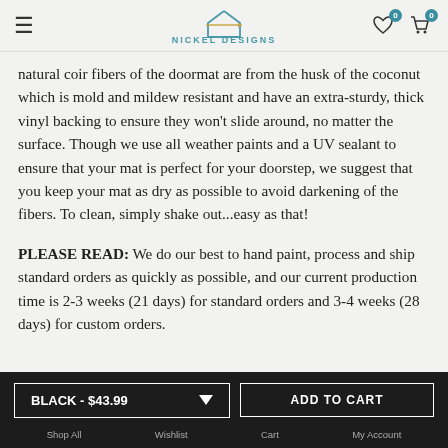Nickel Designs
natural coir fibers of the doormat are from the husk of the coconut which is mold and mildew resistant and have an extra-sturdy, thick vinyl backing to ensure they won't slide around, no matter the surface. Though we use all weather paints and a UV sealant to ensure that your mat is perfect for your doorstep, we suggest that you keep your mat as dry as possible to avoid darkening of the fibers. To clean, simply shake out...easy as that!
PLEASE READ: We do our best to hand paint, process and ship standard orders as quickly as possible, and our current production time is 2-3 weeks (21 days) for standard orders and 3-4 weeks (28 days) for custom orders.
BLACK - $43.99  ADD TO CART